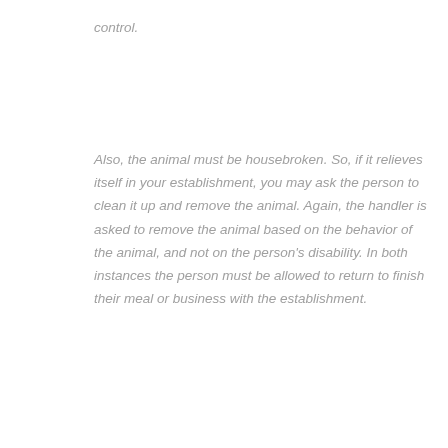control.
Also, the animal must be housebroken. So, if it relieves itself in your establishment, you may ask the person to clean it up and remove the animal. Again, the handler is asked to remove the animal based on the behavior of the animal, and not on the person's disability. In both instances the person must be allowed to return to finish their meal or business with the establishment.